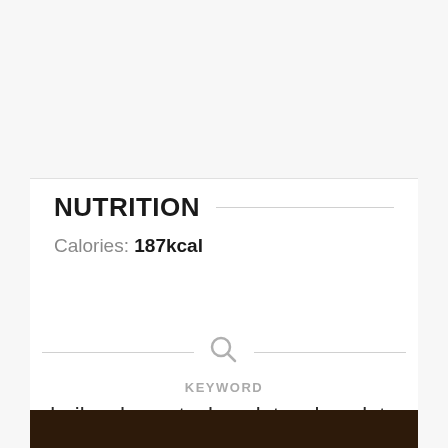[Figure (photo): Light gray placeholder image area at top of page]
NUTRITION
Calories: 187kcal
[Figure (other): Search icon (magnifying glass) above KEYWORD label]
KEYWORD
bailys dessert, chocolate, chocolate chip
[Figure (photo): Dark brown image strip at bottom of page]